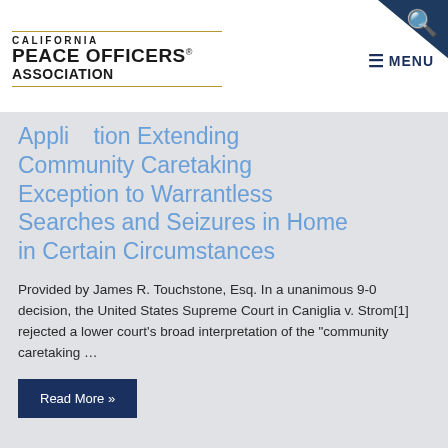[Figure (logo): California Peace Officers Association logo with California bear silhouette and organization name]
Application Extending Community Caretaking Exception to Warrantless Searches and Seizures in Home in Certain Circumstances
Provided by James R. Touchstone, Esq. In a unanimous 9-0 decision, the United States Supreme Court in Caniglia v. Strom[1] rejected a lower court's broad interpretation of the "community caretaking …
Read More »